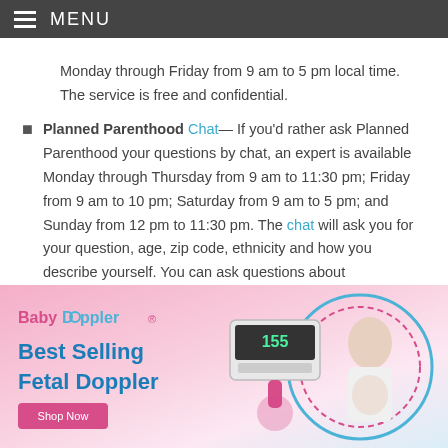MENU
Monday through Friday from 9 am to 5 pm local time. The service is free and confidential.
Planned Parenthood Chat— If you'd rather ask Planned Parenthood your questions by chat, an expert is available Monday through Thursday from 9 am to 11:30 pm; Friday from 9 am to 10 pm; Saturday from 9 am to 5 pm; and Sunday from 12 pm to 11:30 pm. The chat will ask you for your question, age, zip code, ethnicity and how you describe yourself. You can ask questions about
[Figure (photo): BabyDoppler advertisement banner showing a fetal doppler device and a pregnant woman. Text reads: BabyDoppler Best Selling Fetal Doppler. Shop Now button.]